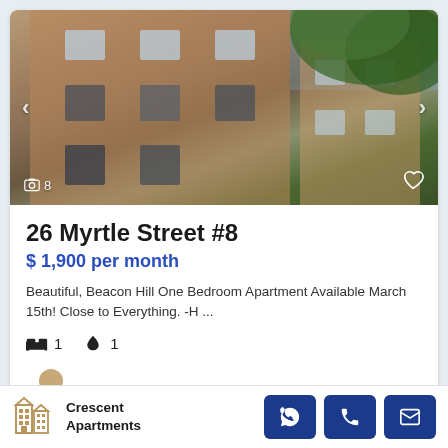[Figure (photo): Exterior photo of a multi-story brick apartment building taken from a low angle, with tree branches visible on the right side. Navigation arrows on left and right. Camera icon with '8' and heart icon overlaid.]
26 Myrtle Street #8
$ 1,900 per month
Beautiful, Beacon Hill One Bedroom Apartment Available March 15th! Close to Everything. -H ...
🛏 1   💧 1
[Figure (logo): Crescent Apartments logo with building icon]
Crescent Apartments — Contact buttons: WhatsApp, Phone, Email